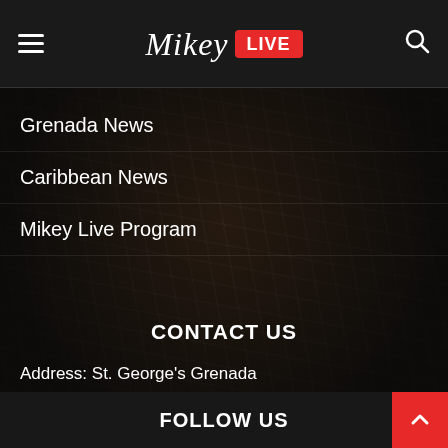Mikey LIVE
Grenada News
Caribbean News
Mikey Live Program
CONTACT US
Address: St. George's Grenada
Email: admin@mikeylive.com
Phone: 1-473-414-9995
FOLLOW US